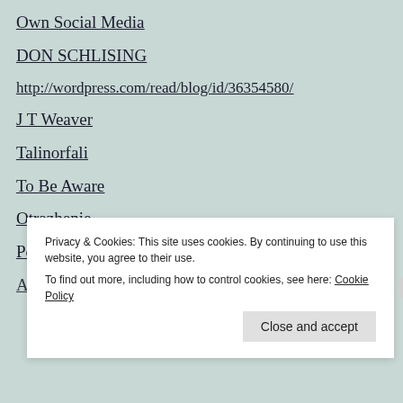Own Social Media
DON SCHLISING
http://wordpress.com/read/blog/id/36354580/
J T Weaver
Talinorfali
To Be Aware
Otrazhenie
Politicalconnection
Ashley Jillian
Privacy & Cookies: This site uses cookies. By continuing to use this website, you agree to their use. To find out more, including how to control cookies, see here: Cookie Policy
Close and accept